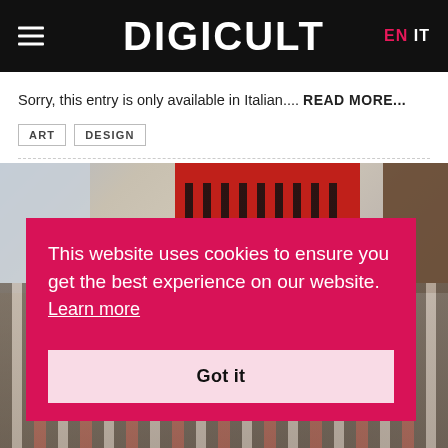DIGICULT — EN IT
Sorry, this entry is only available in Italian.... READ MORE...
ART
DESIGN
[Figure (photo): Exhibition space with colorful geometric patterned textiles and rugs displayed in what appears to be a historic building interior.]
This website uses cookies to ensure you get the best experience on our website. Learn more
Got it